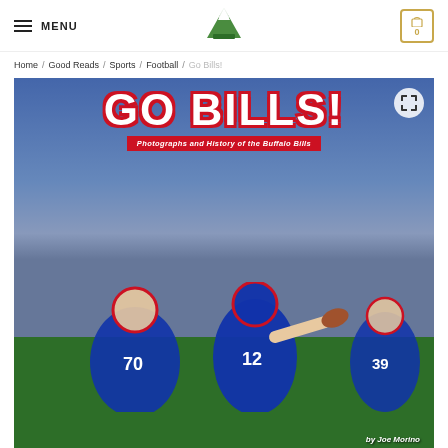MENU | [mountain logo] | [cart: 0]
Home / Good Reads / Sports / Football / Go Bills!
[Figure (photo): Book cover photo: 'GO BILLS! Photographs and History of the Buffalo Bills' showing a Buffalo Bills quarterback (#12) dropping back to pass, with offensive lineman #70 in the foreground, and other players visible. Text at bottom reads 'by Joe Morino'.]